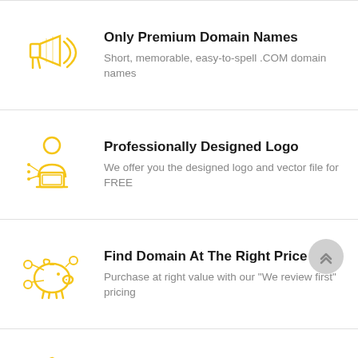[Figure (illustration): Yellow megaphone/loudspeaker icon]
Only Premium Domain Names
Short, memorable, easy-to-spell .COM domain names
[Figure (illustration): Yellow person/designer at laptop icon]
Professionally Designed Logo
We offer you the designed logo and vector file for FREE
[Figure (illustration): Yellow piggy bank with coins/network icon]
Find Domain At The Right Price
Purchase at right value with our "We review first" pricing
[Figure (illustration): Yellow shield/security with server icon]
Buy Domain Securely
Buy with confidence, we offer easy payment ways &